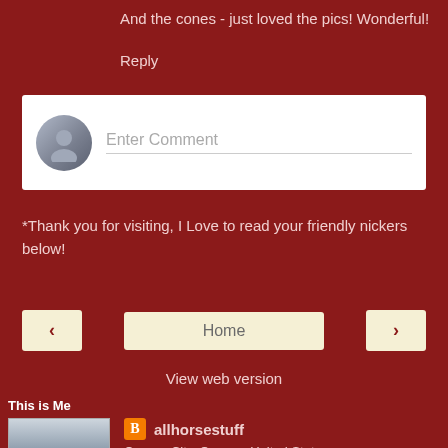And the cones - just loved the pics! Wonderful!
Reply
[Figure (other): Comment input box with user avatar placeholder and 'Enter Comment' placeholder text]
*Thank you for visiting, I Love to read your friendly nickers below!
[Figure (other): Navigation buttons: left arrow, Home, right arrow]
View web version
This is Me
[Figure (photo): Profile photo showing person with horse]
allhorsestuff
Oregon City, Oregon, United States
I live with my beloved husband in a Queen Anne Vernacular -1904 in Historic Oregon City. I grew up here in Oregon, always thought I'd move to another place,